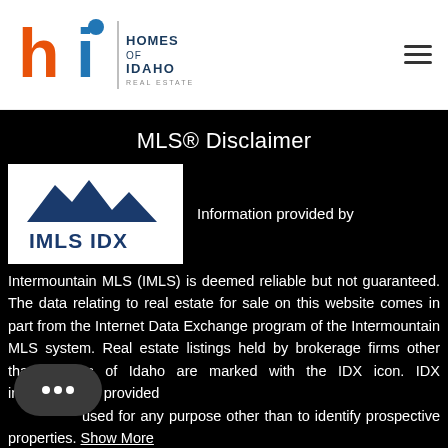[Figure (logo): Homes of Idaho Real Estate logo with 'hi' stylized letters and mountain/landscape design]
MLS® Disclaimer
[Figure (logo): IMLS IDX logo with mountain silhouette above text 'IMLS IDX']
Information provided by
Intermountain MLS (IMLS) is deemed reliable but not guaranteed. The data relating to real estate for sale on this website comes in part from the Internet Data Exchange program of the Intermountain MLS system. Real estate listings held by brokerage firms other than Homes of Idaho are marked with the IDX icon. IDX information is provided for consumer's personal, non-commercial use, that it used for any purpose other than to identify prospective properties. Show More